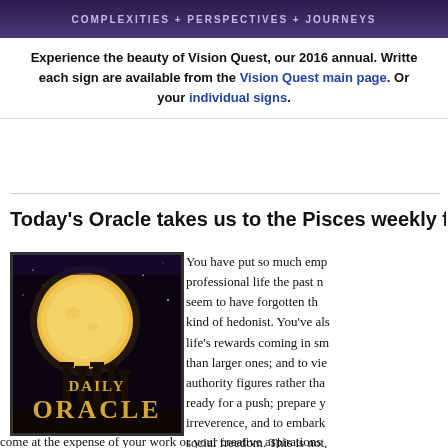[Figure (photo): Banner image with text 'COMPLEXITIES + PERSPECTIVES + JOURNEYS' on a dark purple/night sky background]
Experience the beauty of Vision Quest, our 2016 annual. Written for each sign are available from the Vision Quest main page. Order your individual signs.
Today's Oracle takes us to the Pisces weekly f…
[Figure (photo): Daily Oracle image: large golden moon rising behind ancient stone columns against a dark sky, with 'DAILY ORACLE' text in gold lettering]
You have put so much emphasis on your professional life the past n… seem to have forgotten that you are some kind of hedonist. You've also… life's rewards coming in smaller doses than larger ones; and to view… authority figures rather than… ready for a push; prepare y… irreverence, and to embark… social freedom. This is not,
come at the expense of your work or your creative aspirations…